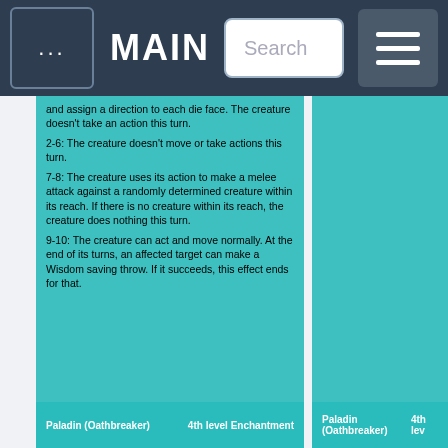... MAIN | Search | ≡
and assign a direction to each die face. The creature doesn't take an action this turn.
2-6: The creature doesn't move or take actions this turn.
7-8: The creature uses its action to make a melee attack against a randomly determined creature within its reach. If there is no creature within its reach, the creature does nothing this turn.
9-10: The creature can act and move normally. At the end of its turns, an affected target can make a Wisdom saving throw. If it succeeds, this effect ends for that.
Paladin (Oathbreaker)   4th level Enchantment
Paladin (Oathbreaker)   4th lev...